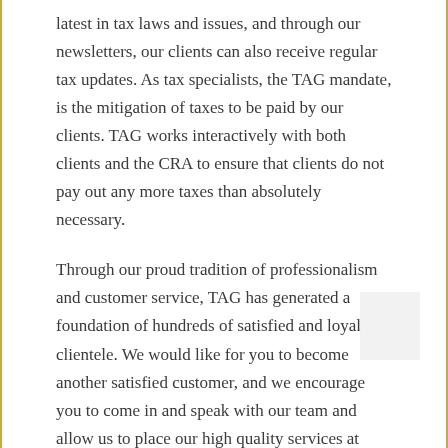latest in tax laws and issues, and through our newsletters, our clients can also receive regular tax updates. As tax specialists, the TAG mandate, is the mitigation of taxes to be paid by our clients. TAG works interactively with both clients and the CRA to ensure that clients do not pay out any more taxes than absolutely necessary.
Through our proud tradition of professionalism and customer service, TAG has generated a foundation of hundreds of satisfied and loyal clientele. We would like for you to become another satisfied customer, and we encourage you to come in and speak with our team and allow us to place our high quality services at your disposal.